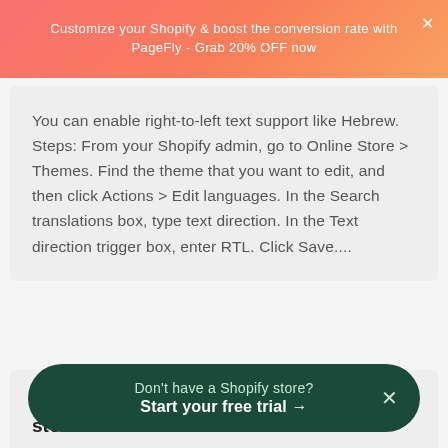Customize your Shopify & boost the conversion rate with PageFly - Grab 20% OFF now
You can enable right-to-left text support like Hebrew. Steps: From your Shopify admin, go to Online Store > Themes. Find the theme that you want to edit, and then click Actions > Edit languages. In the Search translations box, type text direction. In the Text direction trigger box, enter RTL. Click Save....
Remove 'Powered by Shopify' from your store
if you don't want it to appear in your store. Steps:
Don't have a Shopify store?
Start your free trial →